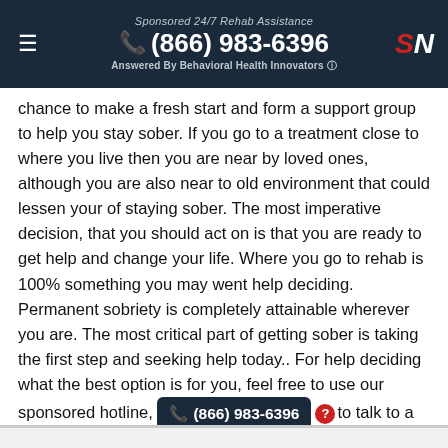Sponsored 24/7 Rehab Assistance | (866) 983-6396 | Answered By Behavioral Health Innovators
chance to make a fresh start and form a support group to help you stay sober. If you go to a treatment close to where you live then you are near by loved ones, although you are also near to old environment that could lessen your of staying sober. The most imperative decision, that you should act on is that you are ready to get help and change your life. Where you go to rehab is 100% something you may went help deciding. Permanent sobriety is completely attainable wherever you are. The most critical part of getting sober is taking the first step and seeking help today.. For help deciding what the best option is for you, feel free to use our sponsored hotline, (866) 983-6396 to talk to a treatment specialist today.